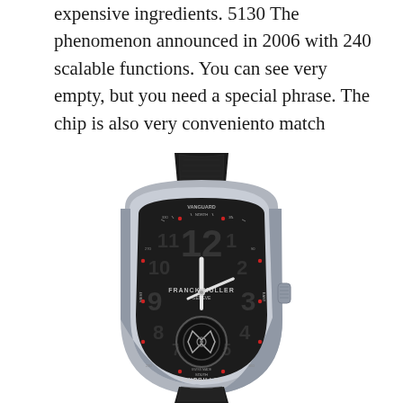expensive ingredients. 5130 The phenomenon announced in 2006 with 240 scalable functions. You can see very empty, but you need a special phrase. The chip is also very conveniento match
[Figure (photo): A Franck Muller Vanguard Tourbillon luxury watch with a black dial, silver/titanium case, compass directions (NORTH, SOUTH, EAST, WEST) marked on the bezel, large Arabic numerals, and a tourbillon complication at the bottom. The watch has a black alligator leather strap.]